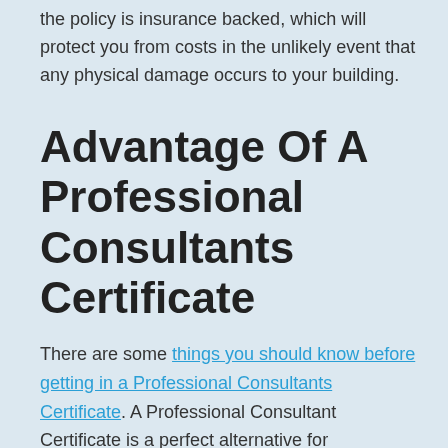The main advantage of a new build warranty is that the policy is insurance backed, which will protect you from costs in the unlikely event that any physical damage occurs to your building.
Advantage Of A Professional Consultants Certificate
There are some things you should know before getting in a Professional Consultants Certificate. A Professional Consultant Certificate is a perfect alternative for developers and home buyers due to its one major benefit: cost-effectiveness.
A professional consultant's certificate is a much more cost and time-effective process than taking